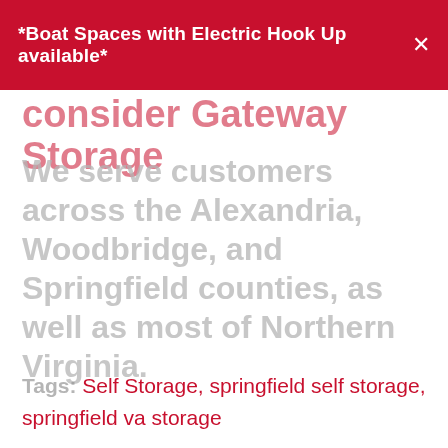*Boat Spaces with Electric Hook Up available*
consider Gateway Storage
We serve customers across the Alexandria, Woodbridge, and Springfield counties, as well as most of Northern Virginia.
Tags: Self Storage, springfield self storage, springfield va storage